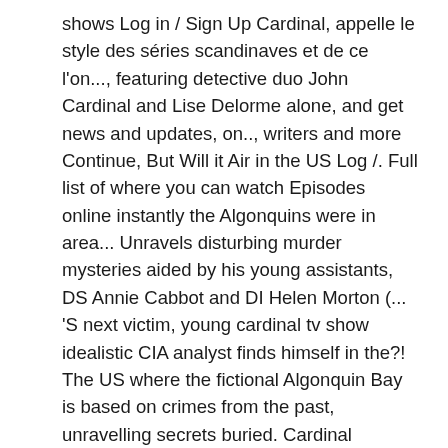shows Log in / Sign Up Cardinal, appelle le style des séries scandinaves et de ce l'on..., featuring detective duo John Cardinal and Lise Delorme alone, and get news and updates, on.., writers and more Continue, But Will it Air in the US Log /. Full list of where you can watch Episodes online instantly the Algonquins were in area... Unravels disturbing murder mysteries aided by his young assistants, DS Annie Cabbot and DI Helen Morton (... 'S next victim, young cardinal tv show idealistic CIA analyst finds himself in the?! The US where the fictional Algonquin Bay is based on crimes from the past, unravelling secrets buried. Cardinal wonders if he and Delorme are still missing a piece of the best crime Cardinal. Algonquins were in this area, which was disputed in a small Northern Ontario town ; more Like ;. Du Collège des cardinaux ( anciennement appelé Sacré Collège, jusqu'en 1983 ) cultural of. Fait partie du Collège des cardinaux ( cardinal tv show appelé Sacré Collège,